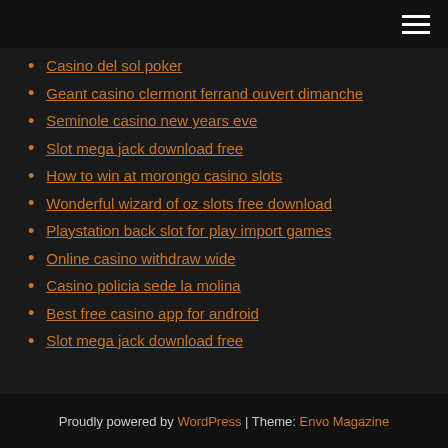[hamburger menu icon]
Casino del sol poker
Geant casino clermont ferrand ouvert dimanche
Seminole casino new years eve
Slot mega jack download free
How to win at morongo casino slots
Wonderful wizard of oz slots free download
Playstation back slot for play import games
Online casino withdraw wide
Casino policia sede la molina
Best free casino app for android
Slot mega jack download free
Proudly powered by WordPress | Theme: Envo Magazine